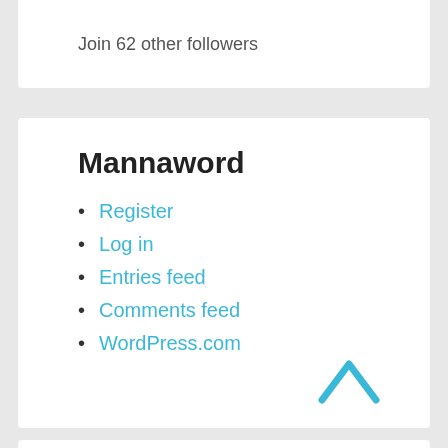Join 62 other followers
Mannaword
Register
Log in
Entries feed
Comments feed
WordPress.com